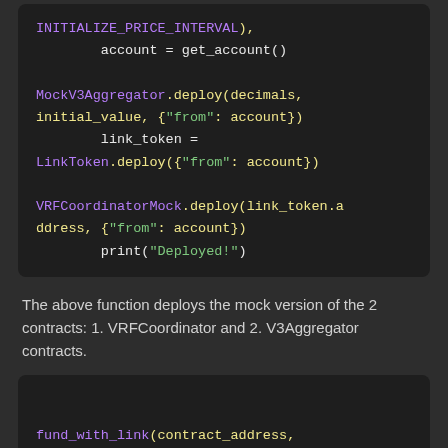[Figure (screenshot): Dark-themed code block showing Python code with MockV3Aggregator.deploy, LinkToken.deploy, VRFCoordinatorMock.deploy, and print statements in yellow/purple/green syntax highlighting.]
The above function deploys the mock version of the 2 contracts: 1. VRFCoordinator and 2. V3Aggregator contracts.
[Figure (screenshot): Dark-themed code block showing the beginning of a fund_with_link function definition with a Chat with Sales widget overlay.]